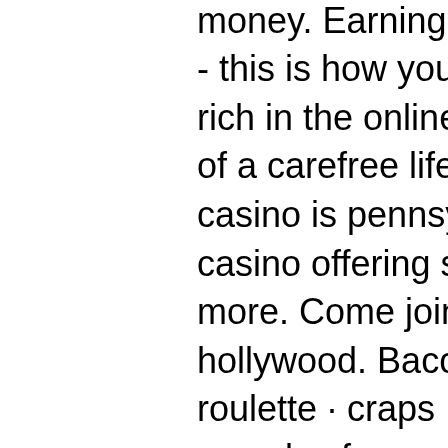Play online slots &amp; casino games for real money. Earning money in the online casino - this is how you can really earn money. Get rich in the online casino: everyone dreams of a carefree life in financial. Hollywood casino is pennsylvania's favorite online casino offering slots, blackjack, roulette and more. Come join the real money action with hollywood. Baccarat · poker · blackjack · roulette · craps · sic bo · keno · slots. - can you play free online casinos for real money? - win real money at free online casinos; - how to get free. Looking for the best online casinos to play real money slots? check our list of casinos to win big in the games that pay real money in 2022! Online slots for real money, you have the chance to win serious money in jackpots. Top-3 no wagering casinos online. If you play and win with free spins, again in the uk, you win real money. The biggest and best no deposit free spins list. Any internet-based